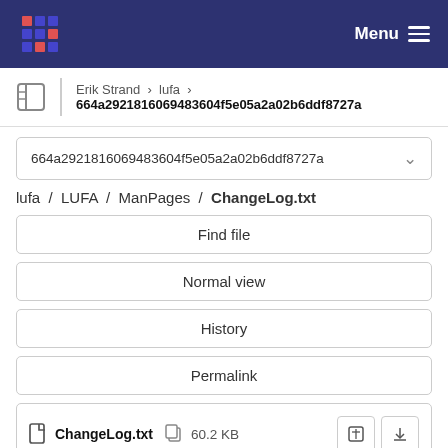Menu
Erik Strand > lufa > 664a2921816069483604f5e05a2a02b6ddf8727a
664a2921816069483604f5e05a2a02b6ddf8727a
lufa / LUFA / ManPages / ChangeLog.txt
Find file
Normal view
History
Permalink
ChangeLog.txt  60.2 KB
Newer Older